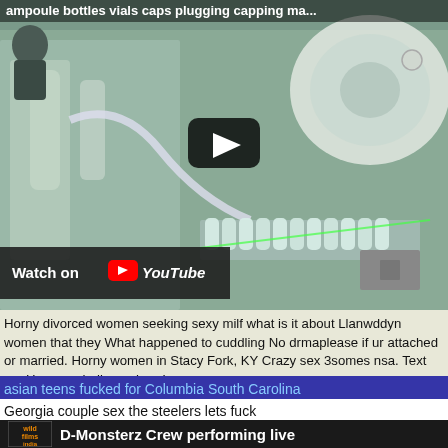[Figure (screenshot): YouTube video thumbnail showing industrial ampoule bottle vials caps plugging capping machine with a play button overlay and Watch on YouTube badge]
Horny divorced women seeking sexy milf what is it about Llanwddyn women that they What happened to cuddling No drmaplease if ur attached or married. Horny women in Stacy Fork, KY Crazy sex 3somes nsa. Text me Horny as hell over here!
asian teens fucked for Columbia South Carolina
Georgia couple sex the steelers lets fuck
D-Monsterz Crew performing live